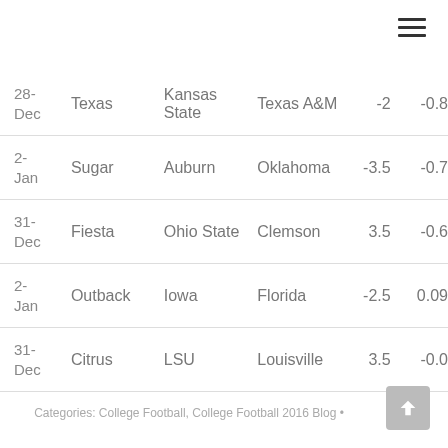| Date | Bowl | Team1 | Team2 | Spread | Value |
| --- | --- | --- | --- | --- | --- |
| 28-Dec | Texas | Kansas State | Texas A&M | -2 | -0.8 |
| 2-Jan | Sugar | Auburn | Oklahoma | -3.5 | -0.7 |
| 31-Dec | Fiesta | Ohio State | Clemson | 3.5 | -0.6 |
| 2-Jan | Outback | Iowa | Florida | -2.5 | 0.09 |
| 31-Dec | Citrus | LSU | Louisville | 3.5 | -0.0 |
Categories: College Football, College Football 2016 Blog •